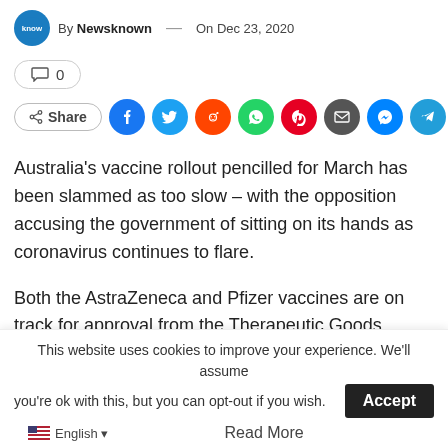By Newsknown — On Dec 23, 2020
0
Share
Australia's vaccine rollout pencilled for March has been slammed as too slow – with the opposition accusing the government of sitting on its hands as coronavirus continues to flare.
Both the AstraZeneca and Pfizer vaccines are on track for approval from the Therapeutic Goods Administration (TGA) in
This website uses cookies to improve your experience. We'll assume you're ok with this, but you can opt-out if you wish. Accept
English ▾  Read More